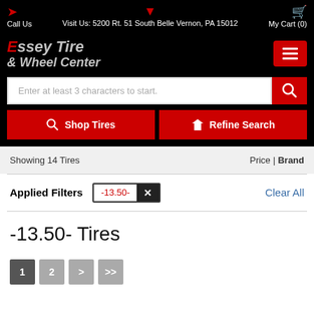Call Us | Visit Us: 5200 Rt. 51 South Belle Vernon, PA 15012 | My Cart (0)
[Figure (logo): Essey Tire & Wheel Center logo in red and grey italic text on black background]
Enter at least 3 characters to start.
Shop Tires | Refine Search
Showing 14 Tires | Price | Brand
Applied Filters -13.50- Clear All
-13.50- Tires
Pagination: 1 2 > >>